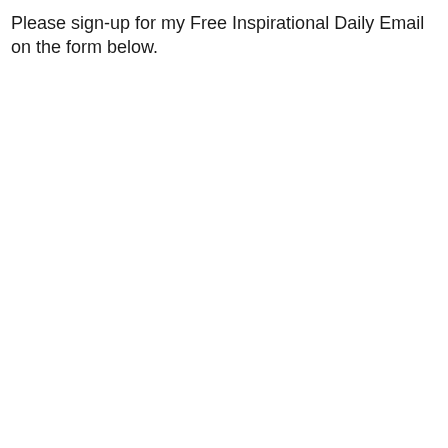Please sign-up for my Free Inspirational Daily Email on the form below.